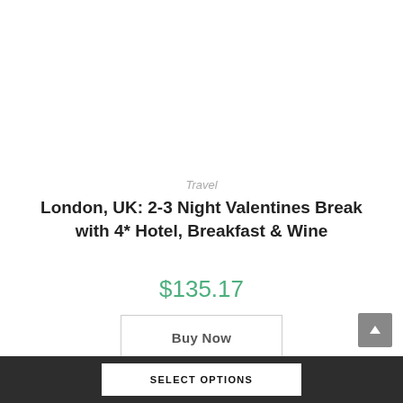Travel
London, UK: 2-3 Night Valentines Break with 4* Hotel, Breakfast & Wine
$135.17
Buy Now
SELECT OPTIONS